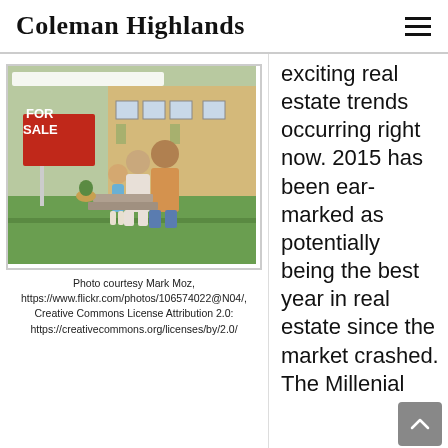Coleman Highlands
[Figure (photo): A family of three (child, woman, man) standing with backs to the camera looking at a house with a red 'FOR SALE' sign in the front yard]
Photo courtesy Mark Moz, https://www.flickr.com/photos/106574022@N04/, Creative Commons License Attribution 2.0: https://creativecommons.org/licenses/by/2.0/
exciting real estate trends occurring right now. 2015 has been ear-marked as potentially being the best year in real estate since the market crashed. The Millennial